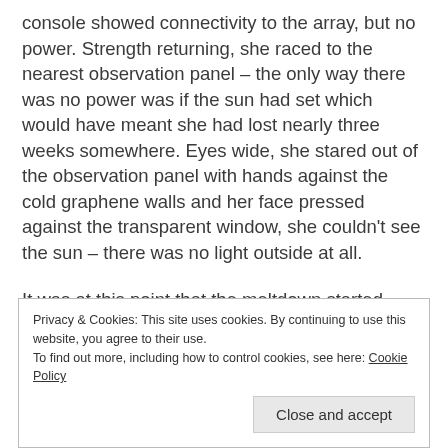console showed connectivity to the array, but no power. Strength returning, she raced to the nearest observation panel – the only way there was no power was if the sun had set which would have meant she had lost nearly three weeks somewhere. Eyes wide, she stared out of the observation panel with hands against the cold graphene walls and her face pressed against the transparent window, she couldn't see the sun – there was no light outside at all.
It was at this point that the meltdown started. She started to feel her head bang like never before.
Privacy & Cookies: This site uses cookies. By continuing to use this website, you agree to their use.
To find out more, including how to control cookies, see here: Cookie Policy
[Close and accept]